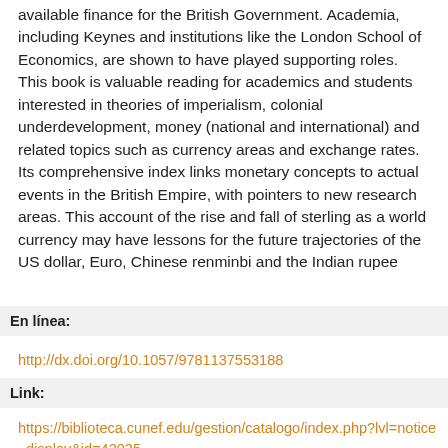available finance for the British Government. Academia, including Keynes and institutions like the London School of Economics, are shown to have played supporting roles. This book is valuable reading for academics and students interested in theories of imperialism, colonial underdevelopment, money (national and international) and related topics such as currency areas and exchange rates. Its comprehensive index links monetary concepts to actual events in the British Empire, with pointers to new research areas. This account of the rise and fall of sterling as a world currency may have lessons for the future trajectories of the US dollar, Euro, Chinese renminbi and the Indian rupee
En línea:
http://dx.doi.org/10.1057/9781137553188
Link:
https://biblioteca.cunef.edu/gestion/catalogo/index.php?lvl=notice_display&id=42035